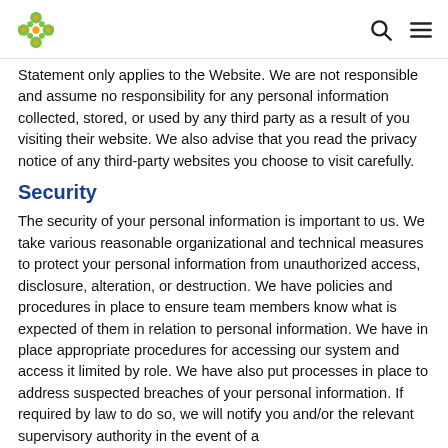[Logo] [Search icon] [Menu icon]
Statement only applies to the Website. We are not responsible and assume no responsibility for any personal information collected, stored, or used by any third party as a result of you visiting their website. We also advise that you read the privacy notice of any third-party websites you choose to visit carefully.
Security
The security of your personal information is important to us. We take various reasonable organizational and technical measures to protect your personal information from unauthorized access, disclosure, alteration, or destruction. We have policies and procedures in place to ensure team members know what is expected of them in relation to personal information. We have in place appropriate procedures for accessing our system and access it limited by role. We have also put processes in place to address suspected breaches of your personal information. If required by law to do so, we will notify you and/or the relevant supervisory authority in the event of a